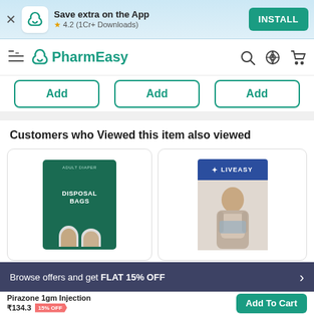Save extra on the App ★ 4.2 (1Cr+ Downloads) INSTALL
PharmEasy
Add | Add | Add
Customers who Viewed this item also viewed
[Figure (photo): Product card: Adult Diaper Disposal Bags package (dark green box with two elderly people)]
[Figure (photo): Product card: LiveEasy brand support/brace product with blue header packaging, person wearing grey support]
Browse offers and get FLAT 15% OFF >
Pirazone 1gm Injection ₹134.3 15% OFF
Add To Cart